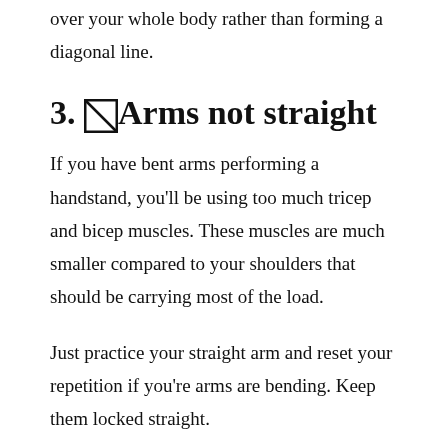over your whole body rather than forming a diagonal line.
3. ☒Arms not straight
If you have bent arms performing a handstand, you'll be using too much tricep and bicep muscles. These muscles are much smaller compared to your shoulders that should be carrying most of the load.
Just practice your straight arm and reset your repetition if you're arms are bending. Keep them locked straight.